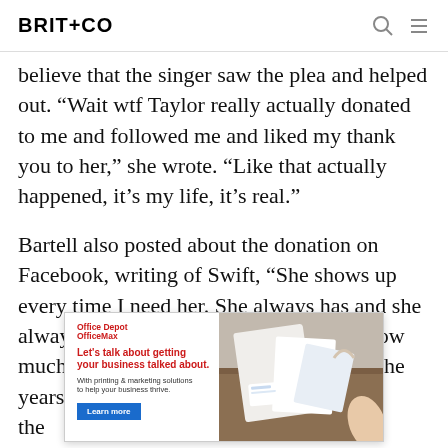BRIT+CO
believe that the singer saw the plea and helped out. “Wait wtf Taylor really actually donated to me and followed me and liked my thank you to her,” she wrote. “Like that actually happened, it’s my life, it’s real.”
Bartell also posted about the donation on Facebook, writing of Swift, “She shows up every time I need her. She always has and she always will. I wish that I could express how much it means to me [over the] years, [end] of the [has] over h...
[Figure (advertisement): Office Depot OfficeMax advertisement: 'Let’s talk about getting your business talked about. With printing & marketing solutions to help your business thrive.' with a Learn more button and a photo of business stationery on a wooden table.]